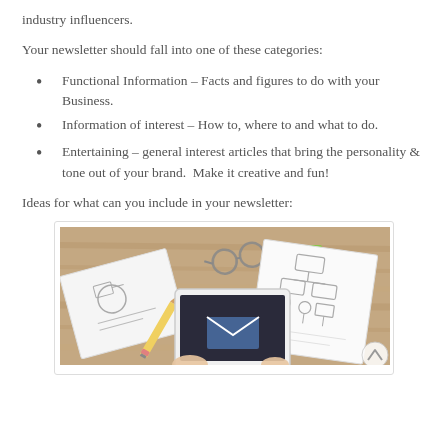industry influencers.
Your newsletter should fall into one of these categories:
Functional Information – Facts and figures to do with your Business.
Information of interest – How to, where to and what to do.
Entertaining – general interest articles that bring the personality & tone out of your brand.  Make it creative and fun!
Ideas for what can you include in your newsletter:
[Figure (photo): Overhead view of a person using a tablet on a wooden desk, surrounded by notebooks with sketches, a green sticky note with an envelope icon, glasses, and a pencil.]